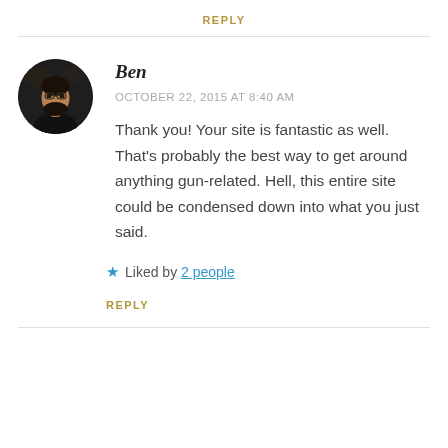REPLY
Ben
[Figure (photo): Circular avatar photo of a man with beard and dark clothing against a dark background]
OCTOBER 22, 2015 AT 8:40 AM
Thank you! Your site is fantastic as well. That's probably the best way to get around anything gun-related. Hell, this entire site could be condensed down into what you just said.
Liked by 2 people
REPLY